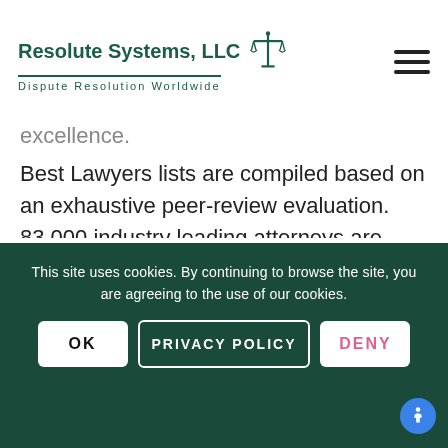Resolute Systems, LLC — Dispute Resolution Worldwide
excellence.
Best Lawyers lists are compiled based on an exhaustive peer-review evaluation. 83,000 industry leading attorneys are eligible to vote (from around the world), and we have received almost 10 million evaluations on the legal abilities of other lawyers based on their specific practice areas around the world. For the 2018 Edition of The Best Lawyers in America©, 7.4 million votes were analyzed, which
This site uses cookies. By continuing to browse the site, you are agreeing to the use of our cookies.